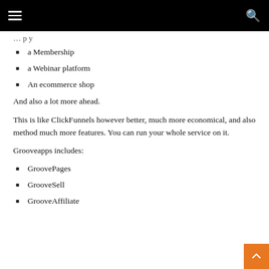Navigation bar with menu and search icons
a Membership
a Webinar platform
An ecommerce shop
And also a lot more ahead.
This is like ClickFunnels however better, much more economical, and also method much more features. You can run your whole service on it.
Grooveapps includes:
GroovePages
GrooveSell
GrooveAffiliate